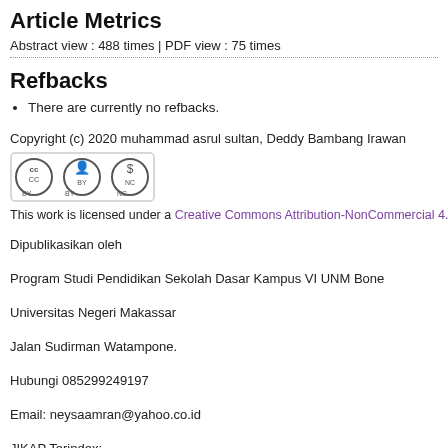Article Metrics
Abstract view : 488 times | PDF view : 75 times
Refbacks
There are currently no refbacks.
Copyright (c) 2020 muhammad asrul sultan, Deddy Bambang Irawan
[Figure (logo): Creative Commons Attribution-NonCommercial license badge showing CC BY NC icons]
This work is licensed under a Creative Commons Attribution-NonCommercial 4.
Dipublikasikan oleh
Program Studi Pendidikan Sekolah Dasar Kampus VI UNM Bone
Universitas Negeri Makassar
Jalan Sudirman Watampone.
Hubungi 085299249197
Email: neysaamran@yahoo.co.id
JIKAP Terindex: